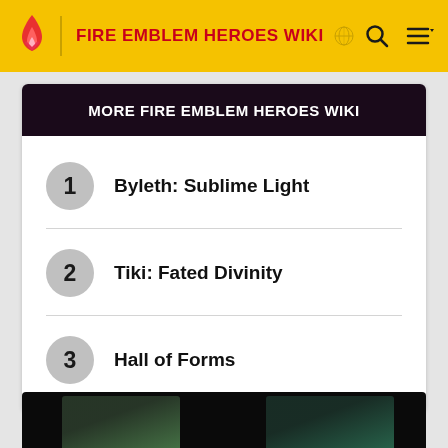FIRE EMBLEM HEROES WIKI
MORE FIRE EMBLEM HEROES WIKI
1  Byleth: Sublime Light
2  Tiki: Fated Divinity
3  Hall of Forms
[Figure (screenshot): Bottom section showing two partially visible game screenshots on a dark background]